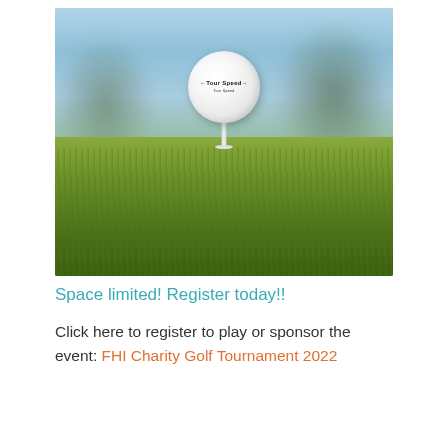[Figure (photo): Close-up photo of a white golf ball on a white tee, sitting on bright green grass with a blurred blue sky and trees in the background. The golf ball has a small logo/text on it.]
Space limited! Register today!!
Click here to register to play or sponsor the event: FHI Charity Golf Tournament 2022